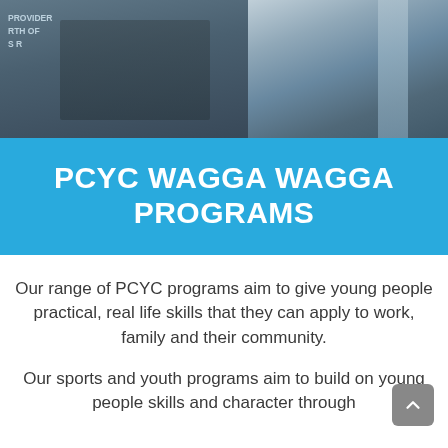[Figure (photo): A police officer with arms crossed and equipment on belt, standing in an indoor setting. Partial text visible on signage in background reading 'PROVIDER', 'RTH OF', 'S R'.]
PCYC WAGGA WAGGA PROGRAMS
Our range of PCYC programs aim to give young people practical, real life skills that they can apply to work, family and their community.
Our sports and youth programs aim to build on young people skills and character through